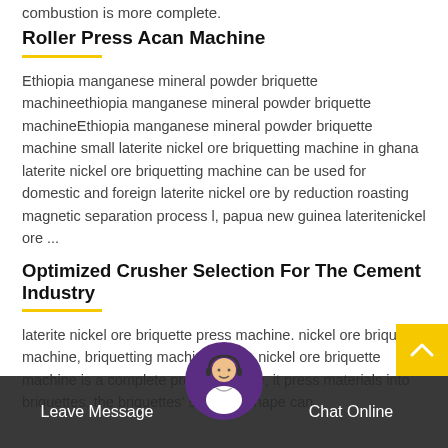combustion is more complete.
Roller Press Acan Machine
Ethiopia manganese mineral powder briquette machineethiopia manganese mineral powder briquette machineEthiopia manganese mineral powder briquette machine small laterite nickel ore briquetting machine in ghana laterite nickel ore briquetting machine can be used for domestic and foreign laterite nickel ore by reduction roasting magnetic separation process l, papua new guinea lateritenickel ore ...
Optimized Crusher Selection For The Cement Industry
laterite nickel ore briquette press machine. nickel ore briquette machine, briquetting machine, coal . nickel ore briquette machine is a complete production line, it press materials into briquettes, the briquettes' size and shape can